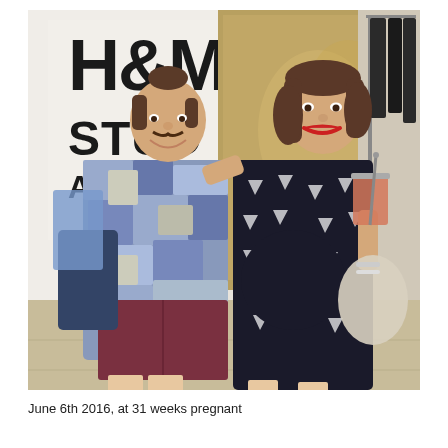[Figure (photo): Two people posing together at an H&M Studio A/W 2016 event. On the left, a man with a bun hairstyle and mustache wearing a patterned blue/grey short-sleeve shirt and dark red shorts, carrying a bag. On the right, a pregnant woman in a black and white geometric print dress holding a drink with a straw, wearing red lipstick and bracelets. Behind them is a white wall with H&M Studio A/W 20[16] signage and a goldish artwork/backdrop.]
June 6th 2016, at 31 weeks pregnant